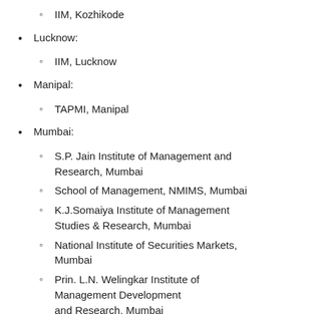IIM, Kozhikode
Lucknow:
IIM, Lucknow
Manipal:
TAPMI, Manipal
Mumbai:
S.P. Jain Institute of Management and Research, Mumbai
School of Management, NMIMS, Mumbai
K.J.Somaiya Institute of Management Studies & Research, Mumbai
National Institute of Securities Markets, Mumbai
Prin. L.N. Welingkar Institute of Management Development and Research, Mumbai